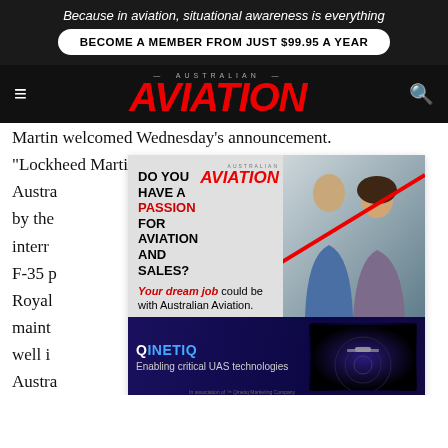Because in aviation, situational awareness is everything
BECOME A MEMBER FROM JUST $99.95 A YEAR
AUSTRALIAN AVIATION
Martin welcomed Wednesday's announcement. "Lockheed Martin appreciates the confidence the Australian... F-35 by the... internationally... the F-35 p... Royal... to maintain... ion, well in... ng Australian companies remain a vital part of the F-35
[Figure (infographic): Advertisement for Australian Aviation jobs with text 'DO YOU HAVE A PASSION FOR AVIATION AND SALES? Your dream job could be with Australian Aviation. FIND OUT MORE' with photo of two people and Australian Aviation logo. Bottom section shows QinetiQ advertisement with text 'Enabling critical UAS technologies'.]